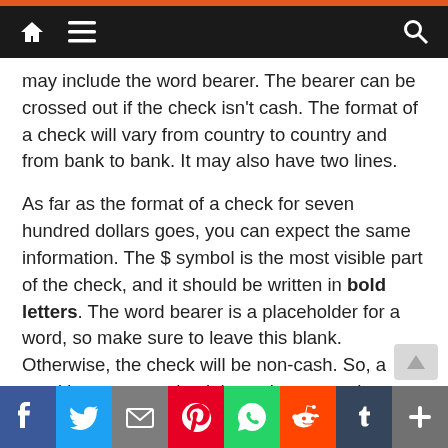Navigation bar with home, menu, and search icons
may include the word bearer. The bearer can be crossed out if the check isn't cash. The format of a check will vary from country to country and from bank to bank. It may also have two lines.
As far as the format of a check for seven hundred dollars goes, you can expect the same information. The $ symbol is the most visible part of the check, and it should be written in bold letters. The word bearer is a placeholder for a word, so make sure to leave this blank. Otherwise, the check will be non-cash. So, a word bearer on a check is not important, but a crossword clue will show you what you're looking for.
There are two ways to write a check for seven hundred ...po...ca...th...s...s...hundred" or the...and...11/When...the...in...the
[Figure (screenshot): Social share bar with Facebook, Twitter, Email, Pinterest, WhatsApp, Reddit, Tumblr, and More buttons]